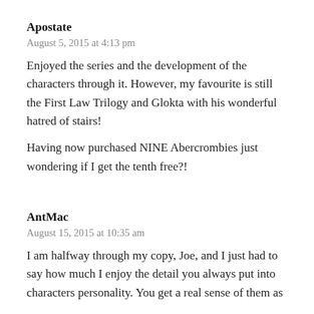Apostate
August 5, 2015 at 4:13 pm
Enjoyed the series and the development of the characters through it. However, my favourite is still the First Law Trilogy and Glokta with his wonderful hatred of stairs!
Having now purchased NINE Abercrombies just wondering if I get the tenth free?!
AntMac
August 15, 2015 at 10:35 am
I am halfway through my copy, Joe, and I just had to say how much I enjoy the detail you always put into characters personality. You get a real sense of them as